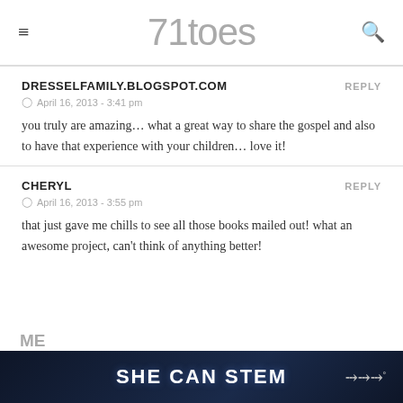71toes
DRESSELFAMILY.BLOGSPOT.COM
April 16, 2013 - 3:41 pm
you truly are amazing… what a great way to share the gospel and also to have that experience with your children… love it!
CHERYL
April 16, 2013 - 3:55 pm
that just gave me chills to see all those books mailed out! what an awesome project, can't think of anything better!
SHE CAN STEM